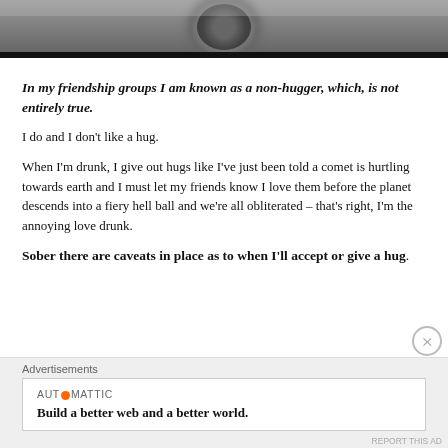[Figure (photo): Top portion of an image showing a spiky ball object against a dark background, with a thick black bar at the bottom of the image.]
In my friendship groups I am known as a non-hugger, which, is not entirely true.
I do and I don't like a hug.
When I'm drunk, I give out hugs like I've just been told a comet is hurtling towards earth and I must let my friends know I love them before the planet descends into a fiery hell ball and we're all obliterated – that's right, I'm the annoying love drunk.
Sober there are caveats in place as to when I'll accept or give a hug.
Advertisements
AUT⊙MATTIC
Build a better web and a better world.